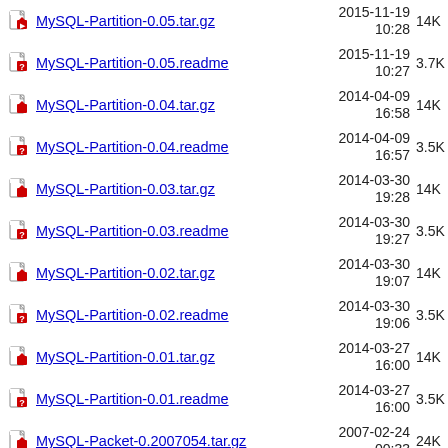MySQL-Partition-0.05.tar.gz  2015-11-19 10:28  14K
MySQL-Partition-0.05.readme  2015-11-19 10:27  3.7K
MySQL-Partition-0.04.tar.gz  2014-04-09 16:58  14K
MySQL-Partition-0.04.readme  2014-04-09 16:57  3.5K
MySQL-Partition-0.03.tar.gz  2014-03-30 19:28  14K
MySQL-Partition-0.03.readme  2014-03-30 19:27  3.5K
MySQL-Partition-0.02.tar.gz  2014-03-30 19:07  14K
MySQL-Partition-0.02.readme  2014-03-30 19:06  3.5K
MySQL-Partition-0.01.tar.gz  2014-03-27 16:00  14K
MySQL-Partition-0.01.readme  2014-03-27 16:00  3.5K
MySQL-Packet-0.2007054.tar.gz  2007-02-24 00:33  24K